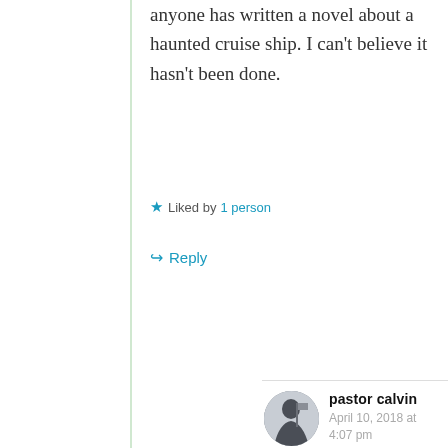anyone has written a novel about a haunted cruise ship. I can't believe it hasn't been done.
Liked by 1 person
Reply
pastor calvin
April 10, 2018 at 4:07 pm
Thank you Allen. Do it! Write the haunted cruise. Since you tie in history